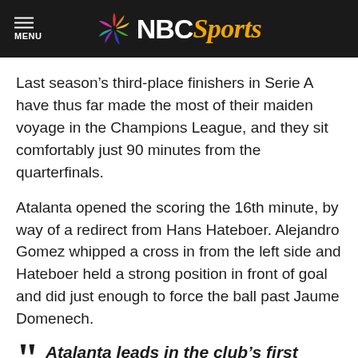NBC Sports
Last season’s third-place finishers in Serie A have thus far made the most of their maiden voyage in the Champions League, and they sit comfortably just 90 minutes from the quarterfinals.
Atalanta opened the scoring the 16th minute, by way of a redirect from Hans Hateboer. Alejandro Gomez whipped a cross in from the left side and Hateboer held a strong position in front of goal and did just enough to force the ball past Jaume Domenech.
“Atalanta leads in the club’s first Knockout Stage match 🙌

Stream live NOW:
https://t.co/2celdyrMMk
pic.twitter.com/TE3RRYoe3a